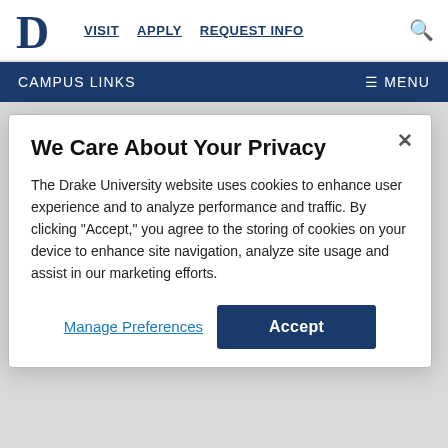Drake University — VISIT | APPLY | REQUEST INFO
CAMPUS LINKS   ≡ MENU
provide advice to the client about choice of entities and then draft the requisite organization documents for the client.  Depending on the type of entity selected, the student will create articles of incorporation and bylaws, or
We Care About Your Privacy
The Drake University website uses cookies to enhance user experience and to analyze performance and traffic. By clicking "Accept," you agree to the storing of cookies on your device to enhance site navigation, analyze site usage and assist in our marketing efforts.
Manage Preferences   Accept